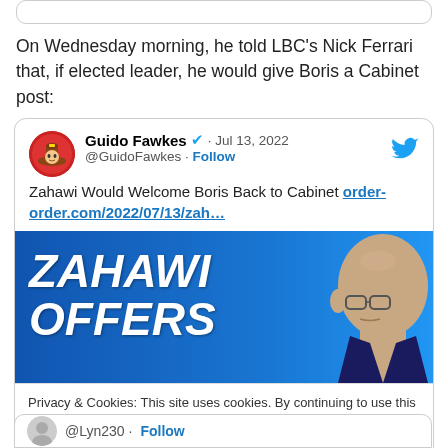On Wednesday morning, he told LBC's Nick Ferrari that, if elected leader, he would give Boris a Cabinet post:
[Figure (screenshot): Embedded tweet from @GuidoFawkes dated Jul 13, 2022 with text 'Zahawi Would Welcome Boris Back to Cabinet order-order.com/2022/07/13/zah...' and an image showing 'ZAHAWI OFFERS' text over a blue background with a bald man's face visible. A cookie consent overlay is present at the bottom of the tweet box.]
@Lyn230 · Follow